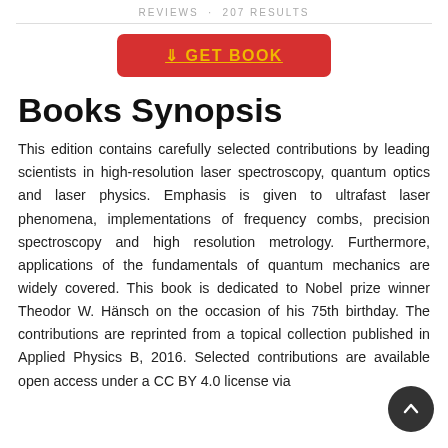REVIEWS · 207 RESULTS
[Figure (other): Red GET BOOK button with download icon]
Books Synopsis
This edition contains carefully selected contributions by leading scientists in high-resolution laser spectroscopy, quantum optics and laser physics. Emphasis is given to ultrafast laser phenomena, implementations of frequency combs, precision spectroscopy and high resolution metrology. Furthermore, applications of the fundamentals of quantum mechanics are widely covered. This book is dedicated to Nobel prize winner Theodor W. Hänsch on the occasion of his 75th birthday. The contributions are reprinted from a topical collection published in Applied Physics B, 2016. Selected contributions are available open access under a CC BY 4.0 license via